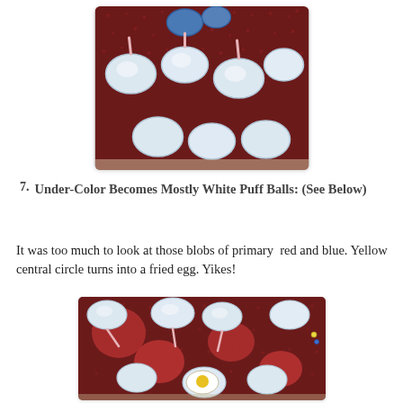[Figure (photo): Top portion of a textile/quilt artwork showing circular puff ball shapes in blue and white on a dark red/maroon patterned background, photographed hanging on a wall.]
7.  Under-Color Becomes Mostly White Puff Balls: (See Below)
It was too much to look at those blobs of primary  red and blue. Yellow central circle turns into a fried egg. Yikes!
[Figure (photo): A textile/quilt artwork with circular white and red puff ball shapes, a yellow central circle resembling a fried egg, on a dark red/maroon patterned background, photographed hanging on a wall.]